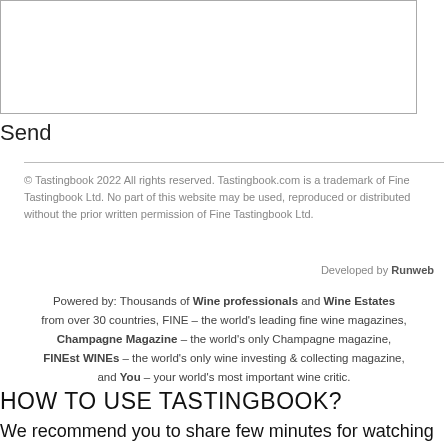[Figure (other): Empty textarea input box with border]
Send
© Tastingbook 2022 All rights reserved. Tastingbook.com is a trademark of Fine Tastingbook Ltd. No part of this website may be used, reproduced or distributed without the prior written permission of Fine Tastingbook Ltd.
Developed by Runweb
Powered by: Thousands of Wine professionals and Wine Estates from over 30 countries, FINE – the world's leading fine wine magazines, Champagne Magazine – the world's only Champagne magazine, FINEst WINEs – the world's only wine investing & collecting magazine, and You – your world's most important wine critic.
HOW TO USE TASTINGBOOK?
We recommend you to share few minutes for watching the following video instructions of how to use the Tastingbook.